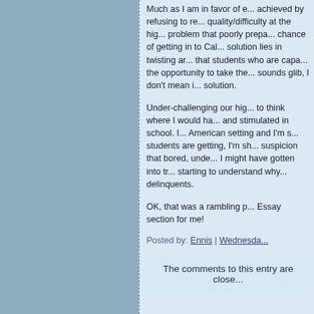Much as I am in favor of e... achieved by refusing to re... quality/difficulty at the hig... problem that poorly prepa... chance of getting in to Cal... solution lies in twisting ar... that students who are capa... the opportunity to take the... sounds glib, I don't mean i... solution.
Under-challenging our hig... to think where I would ha... and stimulated in school. I... American setting and I'm s... students are getting, I'm sh... suspicion that bored, unde... I might have gotten into tr... starting to understand why... delinquents.
OK, that was a rambling p... Essay section for me!
Posted by: Ennis | Wednesda...
The comments to this entry are close...